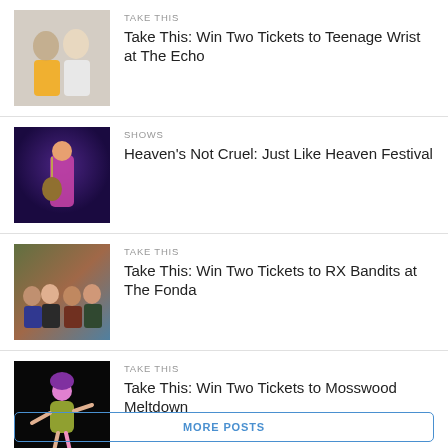[Figure (photo): Two young men standing together, one with dark hair, one with light clothing and a heart patch]
TAKE THIS
Take This: Win Two Tickets to Teenage Wrist at The Echo
[Figure (photo): Musician playing guitar on stage under blue and purple stage lighting]
SHOWS
Heaven's Not Cruel: Just Like Heaven Festival
[Figure (photo): Band group photo of four people sitting/standing in a field with colorful background]
TAKE THIS
Take This: Win Two Tickets to RX Bandits at The Fonda
[Figure (photo): Performer on stage in green outfit with purple hair in dramatic pose against dark background]
TAKE THIS
Take This: Win Two Tickets to Mosswood Meltdown
MORE POSTS